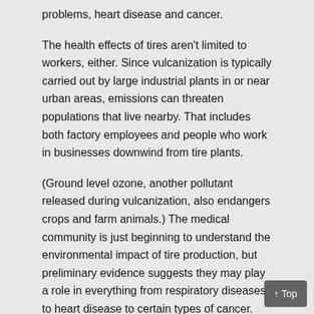problems, heart disease and cancer.
The health effects of tires aren’t limited to workers, either. Since vulcanization is typically carried out by large industrial plants in or near urban areas, emissions can threaten populations that live nearby. That includes both factory employees and people who work in businesses downwind from tire plants.
(Ground level ozone, another pollutant released during vulcanization, also endangers crops and farm animals.) The medical community is just beginning to understand the environmental impact of tire production, but preliminary evidence suggests they may play a role in everything from respiratory diseases to heart disease to certain types of cancer.
Environmental Impacts
Talking about the negative environmental impacts, first, the rubber tree plantations that provide the raw material for tires are often located in tropical rainforests, which are being cleared at an alarm